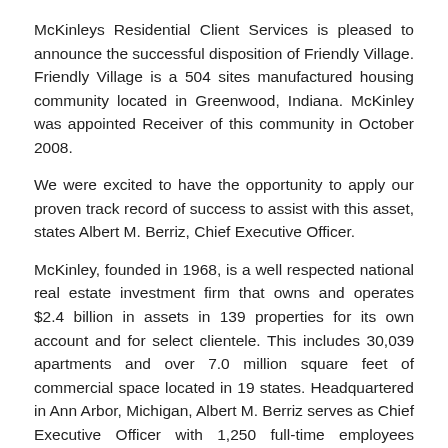McKinleys Residential Client Services is pleased to announce the successful disposition of Friendly Village. Friendly Village is a 504 sites manufactured housing community located in Greenwood, Indiana. McKinley was appointed Receiver of this community in October 2008.
We were excited to have the opportunity to apply our proven track record of success to assist with this asset, states Albert M. Berriz, Chief Executive Officer.
McKinley, founded in 1968, is a well respected national real estate investment firm that owns and operates $2.4 billion in assets in 139 properties for its own account and for select clientele. This includes 30,039 apartments and over 7.0 million square feet of commercial space located in 19 states. Headquartered in Ann Arbor, Michigan, Albert M. Berriz serves as Chief Executive Officer with 1,250 full-time employees nationwide.
For more information on McKinleys Residential Client Services, please contact Kenneth P. Polsinelli at 734-769-8520 x230.
and